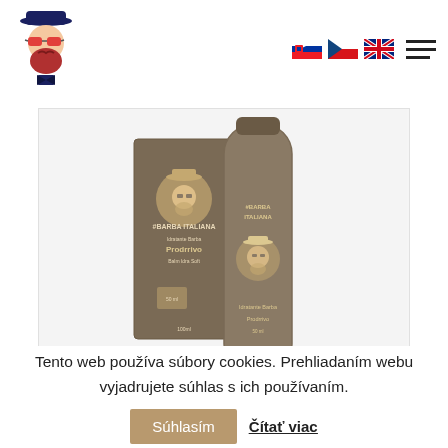[Figure (logo): Barba Italiana brand logo: cartoon man with bowler hat, sunglasses and red beard in dark blue]
[Figure (other): Navigation bar with Slovak, Czech and UK flag icons plus hamburger menu]
[Figure (photo): Product photo: Barba Italiana beard balm/cream tube and box packaging in dark brown/khaki color on light grey background]
Tento web používa súbory cookies. Prehliadaním webu vyjadrujete súhlas s ich používaním.
Súhlasím
Čítať viac